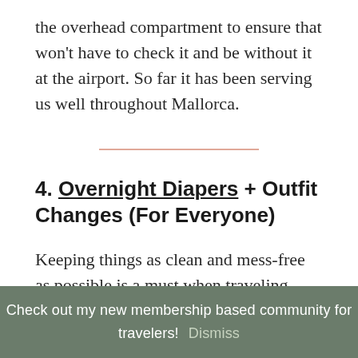the overhead compartment to ensure that won't have to check it and be without it at the airport. So far it has been serving us well throughout Mallorca.
4. Overnight Diapers + Outfit Changes (For Everyone)
Keeping things as clean and mess-free as possible is a must when traveling with a baby, and overnight diapers give you the peace of
Check out my new membership based community for travelers! Dismiss